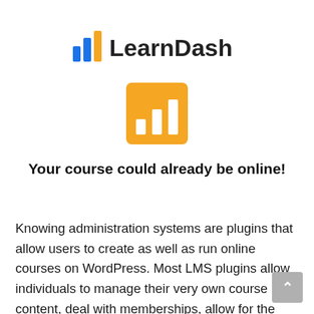[Figure (logo): LearnDash logo: bar chart icon in blue and orange colors followed by 'LearnDash' text in bold black]
[Figure (logo): Orange square icon with white bar chart bars inside]
Your course could already be online!
Knowing administration systems are plugins that allow users to create as well as run online courses on WordPress. Most LMS plugins allow individuals to manage their very own course content, deal with memberships, allow for the sale and circulation of their...